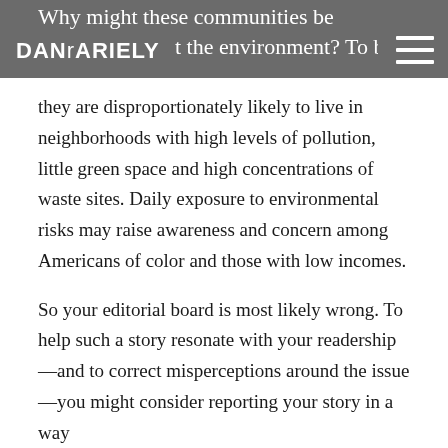DAN ARIELY | [navigation with hamburger menu] | ...about the environment? To begin with,
they are disproportionately likely to live in neighborhoods with high levels of pollution, little green space and high concentrations of waste sites. Daily exposure to environmental risks may raise awareness and concern among Americans of color and those with low incomes.

So your editorial board is most likely wrong. To help such a story resonate with your readership—and to correct misperceptions around the issue—you might consider reporting your story in a way
Why might these communities be particularly...about the environment? To begin with,